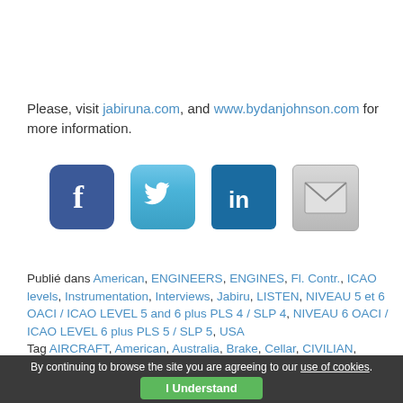Please, visit jabiruna.com, and www.bydanjohnson.com for more information.
[Figure (illustration): Four social media icons: Facebook (blue rounded square with white 'f'), Twitter (light blue rounded square with white bird), LinkedIn (dark blue square with white 'in'), and email/mail (grey square with envelope).]
Publié dans American, ENGINEERS, ENGINES, Fl. Contr., ICAO levels, Instrumentation, Interviews, Jabiru, LISTEN, NIVEAU 5 et 6 OACI / ICAO LEVEL 5 and 6 plus PLS 4 / SLP 4, NIVEAU 6 OACI / ICAO LEVEL 6 plus PLS 5 / SLP 5, USA Tag AIRCRAFT, American, Australia, Brake, Cellar, CIVILIAN, Cocknit, Convenient, Cooling, Drive, Engine, Finished, Flans
By continuing to browse the site you are agreeing to our use of cookies. I Understand